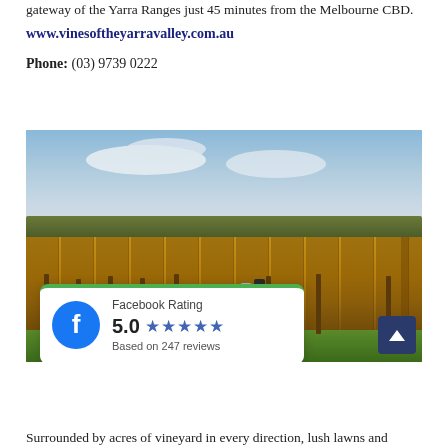gateway of the Yarra Ranges just 45 minutes from the Melbourne CBD.
www.vinesoftheyarravalley.com.au
Phone: (03) 9739 0222
[Figure (photo): Couple standing in an autumn vineyard with golden vines and a blue sky with clouds, with a Facebook Rating overlay card showing 5.0 stars based on 247 reviews]
Surrounded by acres of vineyard in every direction, lush lawns and